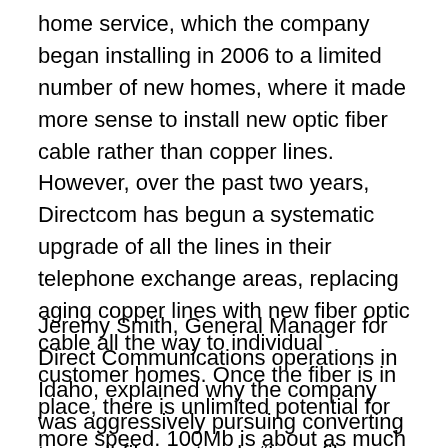home service, which the company began installing in 2006 to a limited number of new homes, where it made more sense to install new optic fiber cable rather than copper lines. However, over the past two years, Directcom has begun a systematic upgrade of all the lines in their telephone exchange areas, replacing aging copper lines with new fiber optic cable all the way to individual customer homes. Once the fiber is in place, there is unlimited potential for more speed. 100Mb is about as much as most modern consumer-grade electronics equipment can handle.
Jeremy Smith, General Manager for Direct Communications operations in Idaho, explained why the company was aggressively pursuing converting to an all-fiber network: “I see fiber optic cable as being non-negotiable to ensure the economic future of rural America